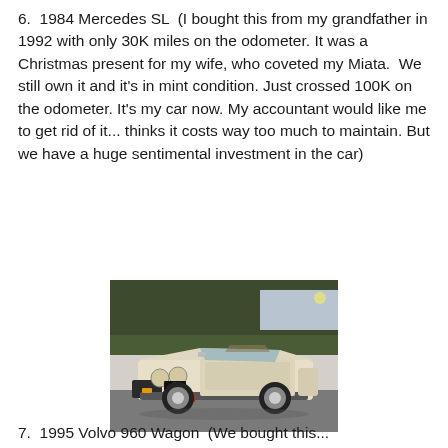6.  1984 Mercedes SL  (I bought this from my grandfather in 1992 with only 30K miles on the odometer. It was a Christmas present for my wife, who coveted my Miata.  We still own it and it's in mint condition. Just crossed 100K on the odometer. It's my car now. My accountant would like me to get rid of it... thinks it costs way too much to maintain. But we have a huge sentimental investment in the car)
[Figure (photo): A cream/white 1984 Mercedes SL convertible photographed from a front-three-quarter angle in a parking lot with trees in the background.]
7.  1995 Volvo 960 Wagon  (We bought this...